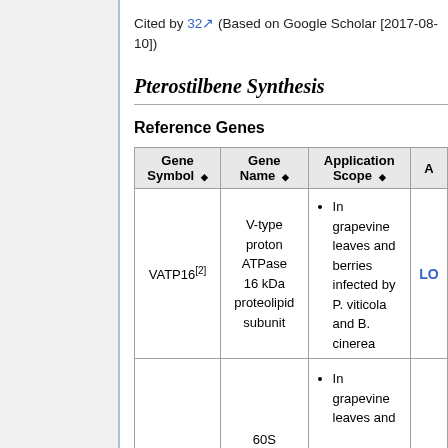Cited by 32 (Based on Google Scholar [2017-08-10])
Pterostilbene Synthesis
Reference Genes
| Gene Symbol | Gene Name | Application Scope | A |
| --- | --- | --- | --- |
| VATP16[2] | V-type proton ATPase 16 kDa proteolipid subunit | In grapevine leaves and berries infected by P. viticola and B. cinerea | LO |
|  | 60S | In grapevine leaves and |  |